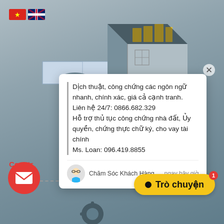[Figure (screenshot): Vietnamese construction website screenshot with chat popup overlay, flags, mail button and chat button]
Dịch thuật, công chứng các ngôn ngữ nhanh, chính xác, giá cả cạnh tranh.
Liên hệ 24/7: 0866.682.329
Hỗ trợ thủ tục công chứng nhà đất, Ủy quyền, chứng thực chữ ký, cho vay tài chính
Ms. Loan: 096.419.8855
Chăm Sóc Khách Hàng
ngay bây giờ
Constr
Trò chuyện